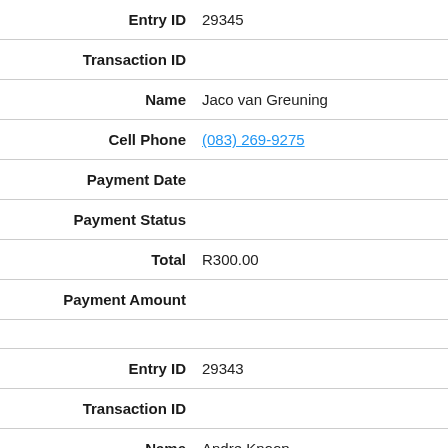| Field | Value |
| --- | --- |
| Entry ID | 29345 |
| Transaction ID |  |
| Name | Jaco van Greuning |
| Cell Phone | (083) 269-9275 |
| Payment Date |  |
| Payment Status |  |
| Total | R300.00 |
| Payment Amount |  |
| Field | Value |
| --- | --- |
| Entry ID | 29343 |
| Transaction ID |  |
| Name | Andre Knoop |
| Cell Phone | (083) 550-6215 |
| Payment Date |  |